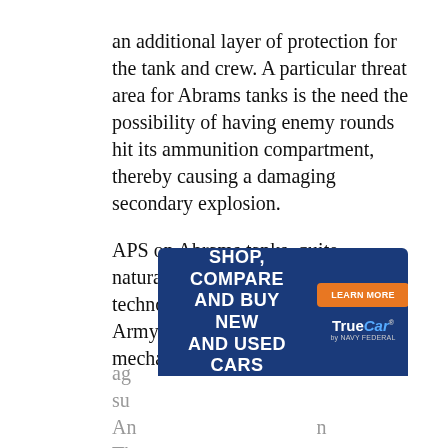an additional layer of protection for the tank and crew. A particular threat area for Abrams tanks is the need the possibility of having enemy rounds hit its ammunition compartment, thereby causing a damaging secondary explosion.
APS on Abrams tanks, quite naturally, is the kind of protective technology which could help US Army tanks in tank-on-tank mechanized warfare ag... su... An... Th...
[Figure (screenshot): Advertisement overlay: Dark blue banner ad reading 'SHOP, COMPARE AND BUY NEW AND USED CARS' with an orange 'LEARN MORE' button and TrueCar by Navy Federal logo on the right side.]